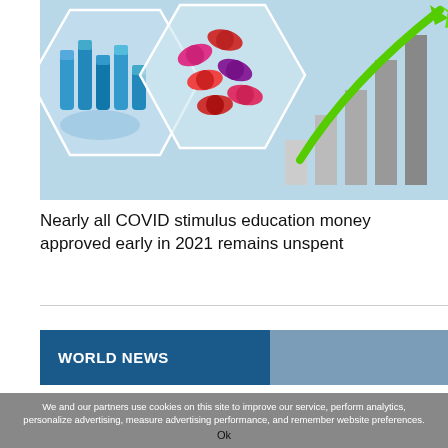[Figure (illustration): A composite news/medical banner image showing blue vaccine vials in a hexagonal frame, colorful capsule pills in another hexagonal frame, and silver bar chart columns with a green upward arrow, all on a light blue background.]
Nearly all COVID stimulus education money approved early in 2021 remains unspent
WORLD NEWS
We and our partners use cookies on this site to improve our service, perform analytics, personalize advertising, measure advertising performance, and remember website preferences.
Ok